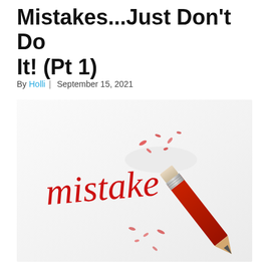Mistakes...Just Don't Do It! (Pt 1)
By Holli | September 15, 2021
[Figure (photo): A red pencil erasing the word 'mistake' written in red cursive ink on white paper, with eraser shavings scattered around.]